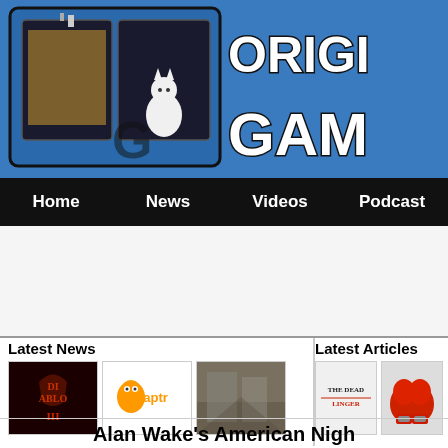[Figure (logo): Original Gamer website logo with OG icon on blue background and ORIGINAL GAMER text in bold white with black border]
Home  News  Videos  Podcast
[Figure (other): Advertisement banner area, light gray background]
Latest News
[Figure (other): Three thumbnail images: Diablo III logo, Raptr logo, and a game screenshot]
Latest Articles
[Figure (other): Two thumbnail images: The Dead Finger article image, and a red boxing gloves image]
Alan Wake's American Nigh